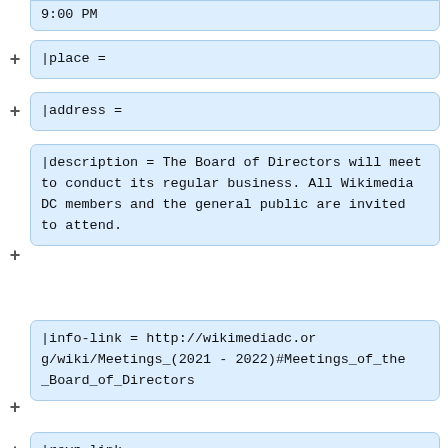9:00 PM
|place =
|address =
|description = The Board of Directors will meet to conduct its regular business. All Wikimedia DC members and the general public are invited to attend.
|info-link = http://wikimediadc.org/wiki/Meetings_(2021-2022)#Meetings_of_the_Board_of_Directors
|rsvp-link =